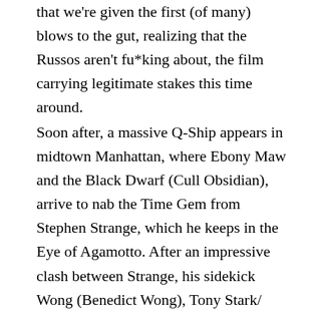that we're given the first (of many) blows to the gut, realizing that the Russos aren't fu*king about, the film carrying legitimate stakes this time around.
Soon after, a massive Q-Ship appears in midtown Manhattan, where Ebony Maw and the Black Dwarf (Cull Obsidian), arrive to nab the Time Gem from Stephen Strange, which he keeps in the Eye of Agamotto. After an impressive clash between Strange, his sidekick Wong (Benedict Wong), Tony Stark/ Iron Man (Robert Downey Jr.) and the nerdy Peter Parker/ Spider-Man — who swings into action after seeing the donut-shaped spacecraft while out on a school trip — Strange gets sucked into the vessel, this forcing Stark and Parker (who's armed with a new anti-gravity 'Iron Spider' suit) into space. Once Strange and Stark are